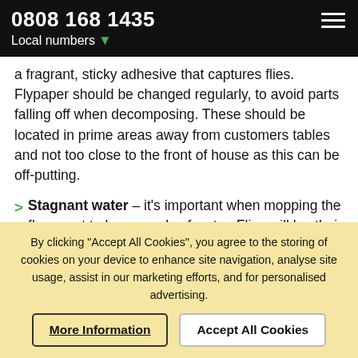0808 168 1435
Local numbers
a fragrant, sticky adhesive that captures flies. Flypaper should be changed regularly, to avoid parts falling off when decomposing. These should be located in prime areas away from customers tables and not too close to the front of house as this can be off-putting.
Stagnant water – it's important when mopping the floors not to leave pools of water. Flies will lay their eggs here – immediately making mopping an obsolete task. However, this does not mean to say that you shouldn't mop the floors completely. This will lift grease and food that has accumulated that would otherwise
By clicking "Accept All Cookies", you agree to the storing of cookies on your device to enhance site navigation, analyse site usage, assist in our marketing efforts, and for personalised advertising.
More Information   Accept All Cookies